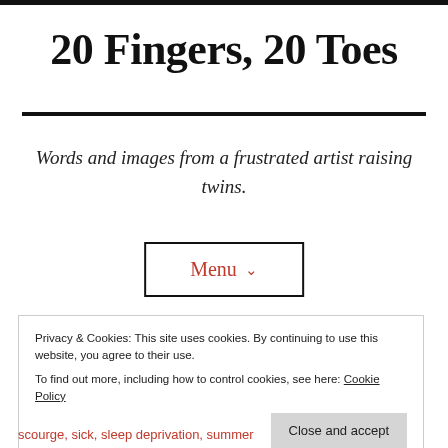20 Fingers, 20 Toes
Words and images from a frustrated artist raising twins.
Menu ˅
Privacy & Cookies: This site uses cookies. By continuing to use this website, you agree to their use.
To find out more, including how to control cookies, see here: Cookie Policy
Close and accept
scourge, sick, sleep deprivation, summer